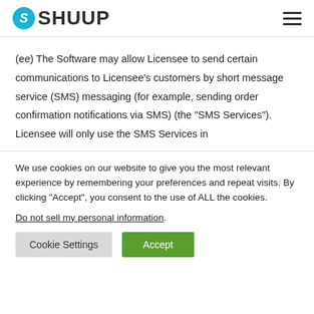SHUUP
(ee) The Software may allow Licensee to send certain communications to Licensee's customers by short message service (SMS) messaging (for example, sending order confirmation notifications via SMS) (the "SMS Services"). Licensee will only use the SMS Services in
We use cookies on our website to give you the most relevant experience by remembering your preferences and repeat visits. By clicking "Accept", you consent to the use of ALL the cookies.
Do not sell my personal information.